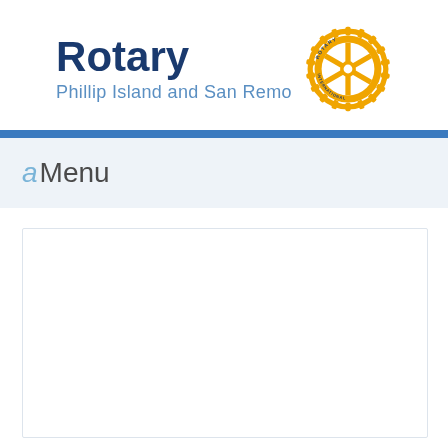Rotary — Phillip Island and San Remo
aMenu
[Figure (other): Empty white content panel with light border]